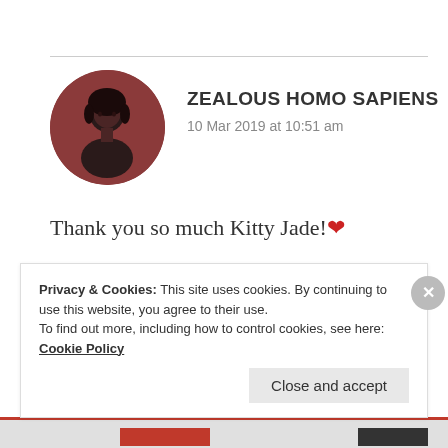[Figure (photo): Circular avatar photo showing a dark-haired person, with dark reddish-brown background]
ZEALOUS HOMO SAPIENS
10 Mar 2019 at 10:51 am
Thank you so much Kitty Jade! ❤
★ Liked by 2 people
REPLY
Privacy & Cookies: This site uses cookies. By continuing to use this website, you agree to their use.
To find out more, including how to control cookies, see here: Cookie Policy
Close and accept